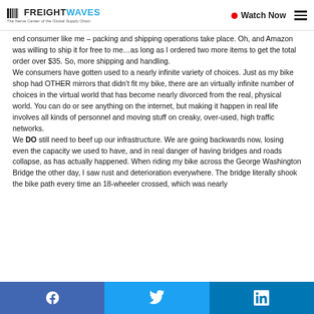FREIGHTWAVES | The Nerve Center of the Global Supply Chain | Watch Now
end consumer like me – packing and shipping operations take place. Oh, and Amazon was willing to ship it for free to me…as long as I ordered two more items to get the total order over $35. So, more shipping and handling.
We consumers have gotten used to a nearly infinite variety of choices. Just as my bike shop had OTHER mirrors that didn't fit my bike, there are an virtually infinite number of choices in the virtual world that has become nearly divorced from the real, physical world. You can do or see anything on the internet, but making it happen in real life involves all kinds of personnel and moving stuff on creaky, over-used, high traffic networks.
We DO still need to beef up our infrastructure. We are going backwards now, losing even the capacity we used to have, and in real danger of having bridges and roads collapse, as has actually happened. When riding my bike across the George Washington Bridge the other day, I saw rust and deterioration everywhere. The bridge literally shook the bike path every time an 18-wheeler crossed, which was nearly
Facebook | Twitter | LinkedIn